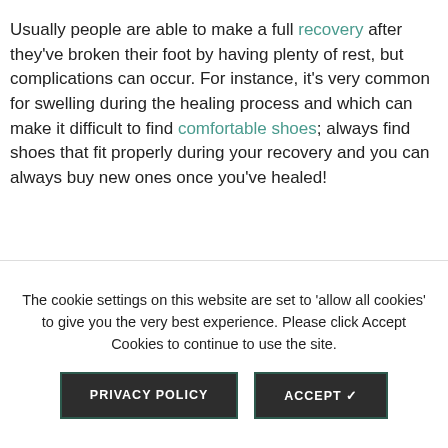Usually people are able to make a full recovery after they've broken their foot by having plenty of rest, but complications can occur. For instance, it's very common for swelling during the healing process and which can make it difficult to find comfortable shoes; always find shoes that fit properly during your recovery and you can always buy new ones once you've healed!
Want to know more? Please get in touch now.
The cookie settings on this website are set to 'allow all cookies' to give you the very best experience. Please click Accept Cookies to continue to use the site.